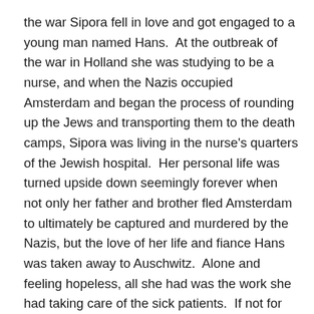the war Sipora fell in love and got engaged to a young man named Hans.  At the outbreak of the war in Holland she was studying to be a nurse, and when the Nazis occupied Amsterdam and began the process of rounding up the Jews and transporting them to the death camps, Sipora was living in the nurse's quarters of the Jewish hospital.  Her personal life was turned upside down seemingly forever when not only her father and brother fled Amsterdam to ultimately be captured and murdered by the Nazis, but the love of her life and fiance Hans was taken away to Auschwitz.  Alone and feeling hopeless, all she had was the work she had taking care of the sick patients.  If not for Nardus Groen, my father of blessed memory,  the man she would later spend her life with, she likely would have been transported to her death along with the majority of the patients.  Instead she began a journey